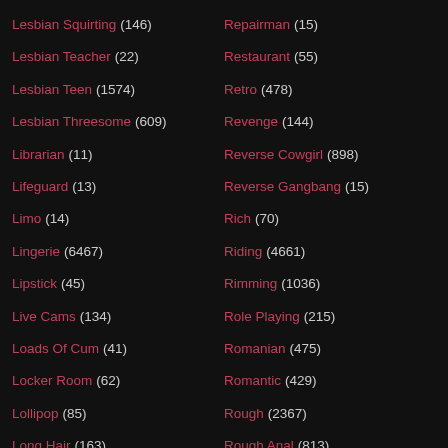Lesbian Squirting (146)
Lesbian Teacher (22)
Lesbian Teen (1574)
Lesbian Threesome (609)
Librarian (11)
Lifeguard (13)
Limo (14)
Lingerie (6467)
Lipstick (45)
Live Cams (134)
Loads Of Cum (41)
Locker Room (62)
Lollipop (85)
Long Hair (163)
Long Legs (49)
Long Nails (71)
Repairman (15)
Restaurant (55)
Retro (478)
Revenge (144)
Reverse Cowgirl (898)
Reverse Gangbang (15)
Rich (70)
Riding (4661)
Rimming (1036)
Role Playing (215)
Romanian (475)
Romantic (429)
Rough (2367)
Rough Anal (813)
Round Ass (451)
Rubber (112)